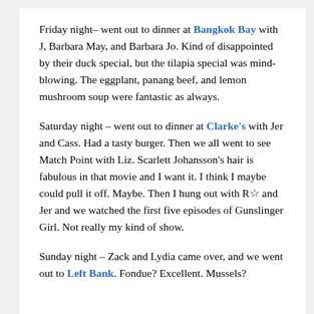Friday night– went out to dinner at Bangkok Bay with J, Barbara May, and Barbara Jo. Kind of disappointed by their duck special, but the tilapia special was mind-blowing. The eggplant, panang beef, and lemon mushroom soup were fantastic as always.
Saturday night – went out to dinner at Clarke's with Jer and Cass. Had a tasty burger. Then we all went to see Match Point with Liz. Scarlett Johansson's hair is fabulous in that movie and I want it. I think I maybe could pull it off. Maybe. Then I hung out with R☆ and Jer and we watched the first five episodes of Gunslinger Girl. Not really my kind of show.
Sunday night – Zack and Lydia came over, and we went out to Left Bank. Fondue? Excellent. Mussels?